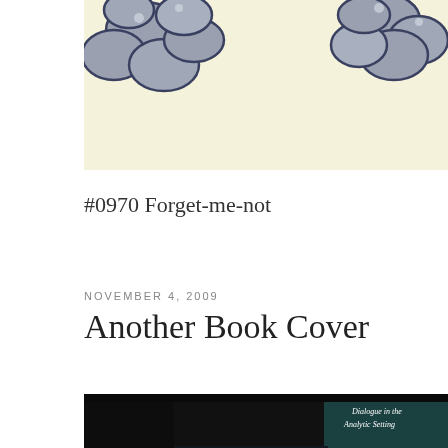[Figure (illustration): Stylized cartoon flowers or cloud-like shapes in gray and blue tones on a cream/yellow background, partially visible at top of page]
#0970 Forget-me-not
NOVEMBER 4, 2009
Another Book Cover
[Figure (photo): Photograph of book spines on a shelf; visible titles include 'Dialogue in the Analytic Setting' and 'Music in the Twentieth Century'; the spines show a spectrum of colors (rainbow gradient)]